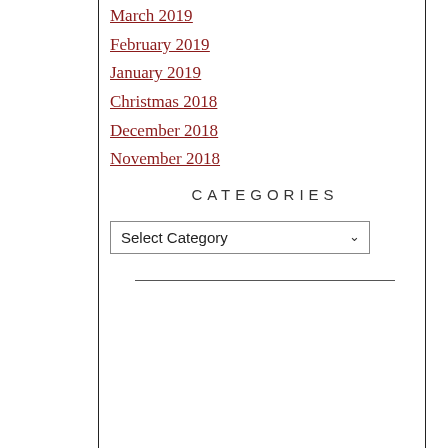March 2019
February 2019
January 2019
Christmas 2018
December 2018
November 2018
CATEGORIES
Select Category